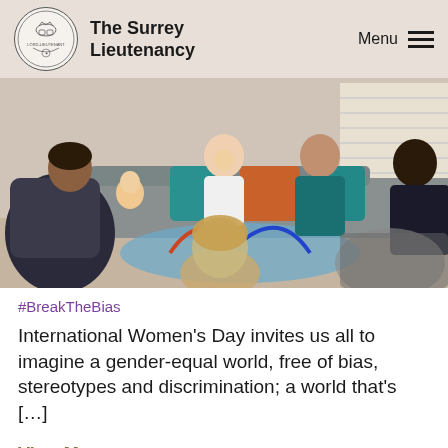The Surrey Lieutenancy | Menu
[Figure (photo): Group of women with babies and young children sitting in a circle in a living room, some on a sofa, some on the floor, with colourful toys visible.]
#BreakTheBias
International Women’s Day invites us all to imagine a gender-equal world, free of bias, stereotypes and discrimination; a world that’s […]
View More →